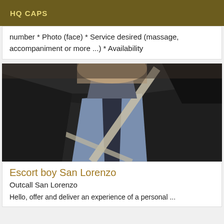HQ CAPS
number * Photo (face) * Service desired (massage, accompaniment or more ...) * Availability
[Figure (photo): A man in a dark suit with a blue shirt and tie, seated in a car with a seatbelt across his chest. His face is not visible.]
Escort boy San Lorenzo
Outcall San Lorenzo
Hello, offer and deliver an experience of a personal ...